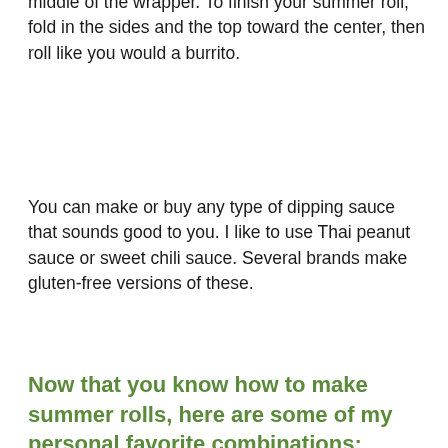middle of the wrapper. To finish your summer roll, fold in the sides and the top toward the center, then roll like you would a burrito.
You can make or buy any type of dipping sauce that sounds good to you. I like to use Thai peanut sauce or sweet chili sauce. Several brands make gluten-free versions of these.
Now that you know how to make summer rolls, here are some of my personal favorite combinations:
Mango, shrimp, lettuce, bean sprouts, mint, cucumber, noodles
Sesame seeds, cucumber, lettuce, peppers, noodles
Grilled chicken, cucumber,